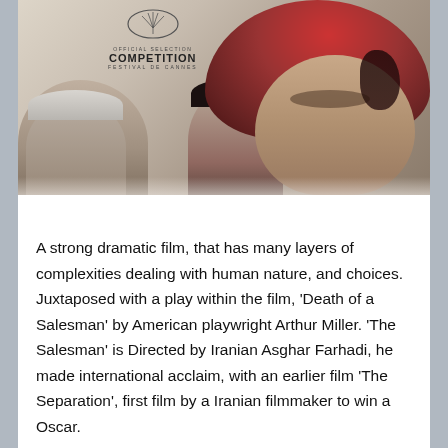[Figure (photo): Movie poster for 'The Salesman' showing three faces — a gray-haired man on the left, a man in the center, and a woman wearing a red headscarf on the right. The poster includes the Cannes Film Festival Official Selection Competition badge at the top.]
A strong dramatic film, that has many layers of complexities dealing with human nature, and choices. Juxtaposed with a play within the film, 'Death of a Salesman' by American playwright Arthur Miller. 'The Salesman' is Directed by Iranian Asghar Farhadi, he made international acclaim, with an earlier film 'The Separation', first film by a Iranian filmmaker to win a Oscar.
Film is set in modern day Iran, you may feel you will